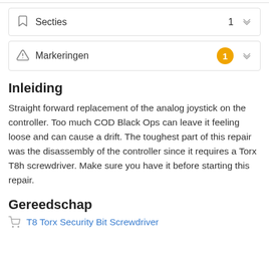Secties  1
Markeringen  1
Inleiding
Straight forward replacement of the analog joystick on the controller. Too much COD Black Ops can leave it feeling loose and can cause a drift. The toughest part of this repair was the disassembly of the controller since it requires a Torx T8h screwdriver. Make sure you have it before starting this repair.
Gereedschap
T8 Torx Security Bit Screwdriver